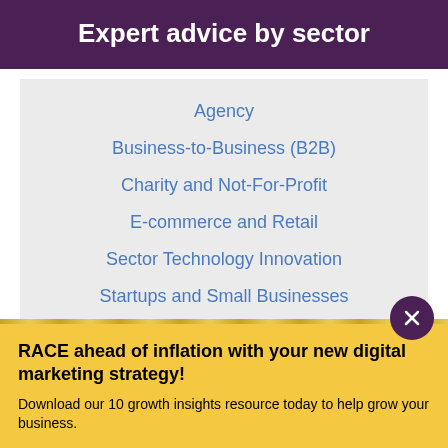Expert advice by sector
Agency
Business-to-Business (B2B)
Charity and Not-For-Profit
E-commerce and Retail
Sector Technology Innovation
Startups and Small Businesses
RACE ahead of inflation with your new digital marketing strategy!
Download our 10 growth insights resource today to help grow your business.